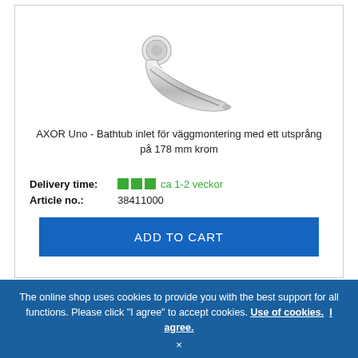[Figure (photo): Chrome bathtub spout/inlet with wall mounting flange, curved profile, AXOR Uno product]
AXOR Uno - Bathtub inlet för väggmontering med ett utsprång på 178 mm krom
Delivery time: ■■■ ca 1-2 veckor
Article no.: 38411000
ADD TO CART
The online shop uses cookies to provide you with the best support for all functions. Please click "I agree" to accept cookies. Use of cookies. I agree.